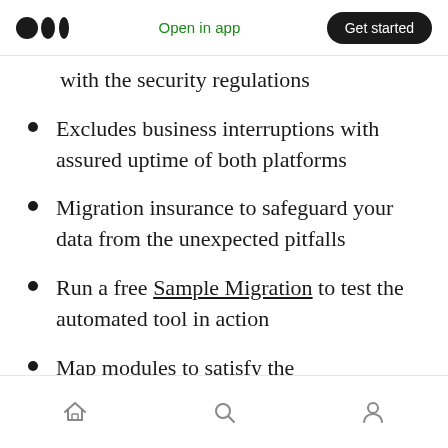Medium logo | Open in app | Get started
with the security regulations
Excludes business interruptions with assured uptime of both platforms
Migration insurance to safeguard your data from the unexpected pitfalls
Run a free Sample Migration to test the automated tool in action
Map modules to satisfy the organization's requirements
Home | Search | Profile